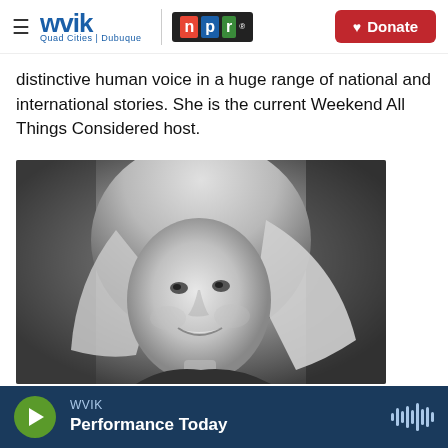WVIK | NPR | Quad Cities | Dubuque | Donate
distinctive human voice in a huge range of national and international stories. She is the current Weekend All Things Considered host.
[Figure (photo): Black and white portrait photo of a smiling woman with long blonde/light hair]
WVIK — Performance Today